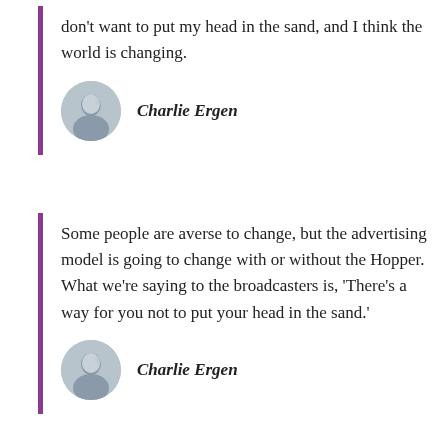don't want to put my head in the sand, and I think the world is changing.
Charlie Ergen
Some people are averse to change, but the advertising model is going to change with or without the Hopper. What we're saying to the broadcasters is, 'There's a way for you not to put your head in the sand.'
Charlie Ergen